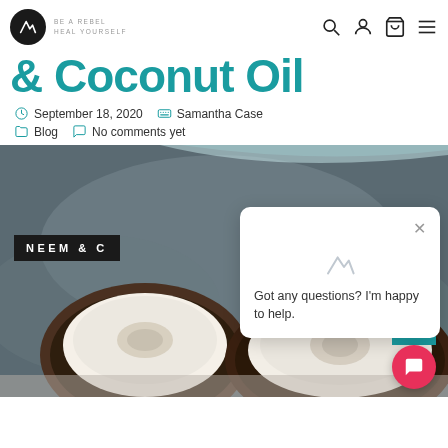BE A REBEL HEAL YOURSELF — navigation header with logo, search, account, cart, menu icons
& Coconut Oil
September 18, 2020  Samantha Case  Blog  No comments yet
[Figure (photo): Hero image showing halved coconuts on a dark textured background with NEEM & C... text overlay and a chat popup saying 'Got any questions? I'm happy to help.']